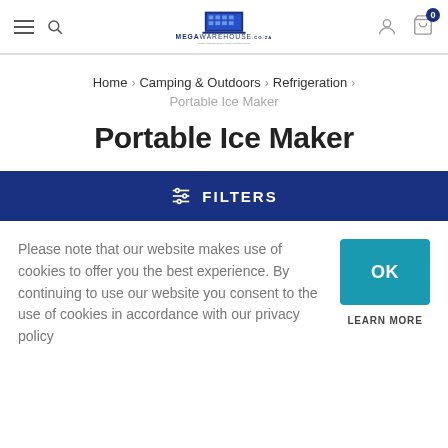MegaWarehouse.co.za header with menu, search, logo, user and cart icons
Home > Camping & Outdoors > Refrigeration > Portable Ice Maker
Portable Ice Maker
FILTERS
Please note that our website makes use of cookies to offer you the best experience. By continuing to use our website you consent to the use of cookies in accordance with our privacy policy